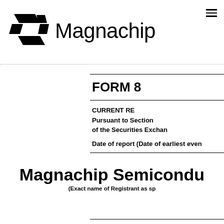[Figure (logo): Magnachip logo consisting of a stylized M/S geometric mark in black and the word Magnachip in large sans-serif text]
FORM 8
CURRENT RE
Pursuant to Section
of the Securities Exchan
Date of report (Date of earliest even
Magnachip Semicondu
(Exact name of Registrant as sp